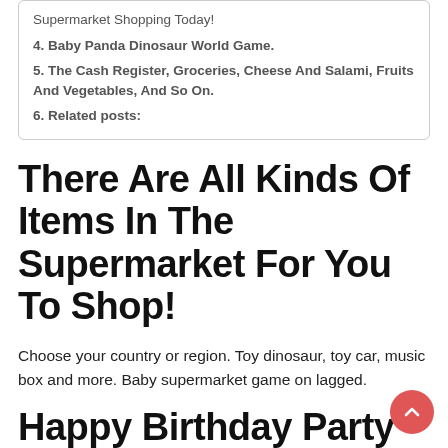Supermarket Shopping Today!
4. Baby Panda Dinosaur World Game.
5. The Cash Register, Groceries, Cheese And Salami, Fruits And Vegetables, And So On.
6. Related posts:
There Are All Kinds Of Items In The Supermarket For You To Shop!
Choose your country or region. Toy dinosaur, toy car, music box and more. Baby supermarket game on lagged.
Happy Birthday Party With